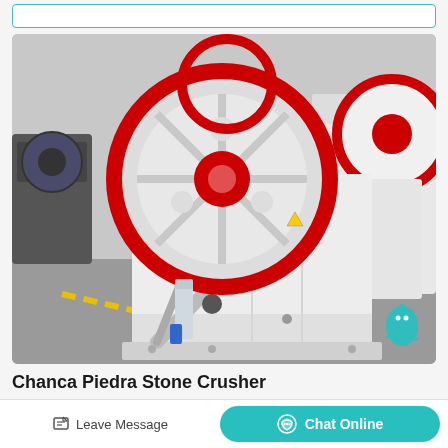[Figure (photo): Industrial jaw crusher (stone crusher) machines on factory floor. White and red colored machines with large red flywheel discs visible. Multiple units shown in a manufacturing/warehouse setting with concrete floor.]
Chanca Piedra Stone Crusher
Leave Message
Chat Online